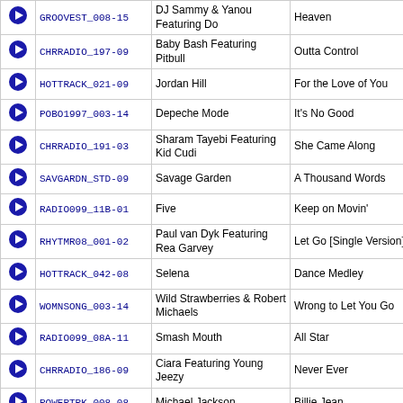|  | ID | Artist | Song |
| --- | --- | --- | --- |
| ▶ | GROOVEST_008-15 | DJ Sammy & Yanou Featuring Do | Heaven |
| ▶ | CHRRADIO_197-09 | Baby Bash Featuring Pitbull | Outta Control |
| ▶ | HOTTRACK_021-09 | Jordan Hill | For the Love of You |
| ▶ | POBO1997_003-14 | Depeche Mode | It's No Good |
| ▶ | CHRRADIO_191-03 | Sharam Tayebi Featuring Kid Cudi | She Came Along |
| ▶ | SAVGARDN_STD-09 | Savage Garden | A Thousand Words |
| ▶ | RADIO099_11B-01 | Five | Keep on Movin' |
| ▶ | RHYTMR08_001-02 | Paul van Dyk Featuring Rea Garvey | Let Go [Single Version] |
| ▶ | HOTTRACK_042-08 | Selena | Dance Medley |
| ▶ | WOMNSONG_003-14 | Wild Strawberries & Robert Michaels | Wrong to Let You Go |
| ▶ | RADIO099_08A-11 | Smash Mouth | All Star |
| ▶ | CHRRADIO_186-09 | Ciara Featuring Young Jeezy | Never Ever |
| ▶ | POWERTRK_008-08 | Michael Jackson | Billie Jean |
| ▶ | RHYTMR10_002-08 | Rihanna | Russian Roulette [Chew Fu Black Russian Radio Mix] |
| ▶ | SAVGARDN_STD-08 | Savage Garden | Break Me Shake Me |
| ▶ | CHRRADIO_170-01 | The Pussycat Dolls | When I Grow Up |
| ▶ | MARIODNC_201-16 | Dion | May Be [22 Green Mix] |
| ▶ | CHRRADIO_222-02 | Girlicious | 2 In The Morning |
| ▶ | RADIO204_06A-09 | Lionel Richie | Just for You [Radio Edit] |